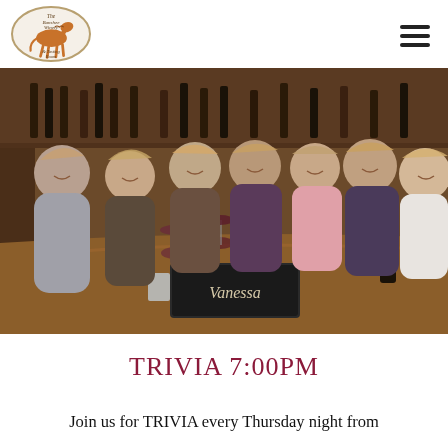[Figure (logo): The Banshee Winery & Tasting Room logo — oval shape with a rearing horse illustration and text]
[Figure (photo): Seven women smiling at a wooden restaurant/winery table with wine glasses, bottles, and food. A chalkboard sign reading 'VANESSA' is on the table.]
TRIVIA 7:00PM
Join us for TRIVIA every Thursday night from